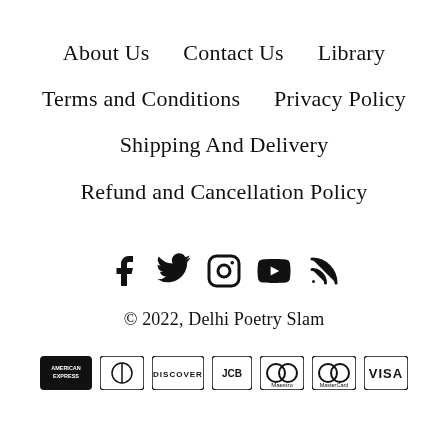About Us    Contact Us    Library
Terms and Conditions    Privacy Policy
Shipping And Delivery
Refund and Cancellation Policy
[Figure (infographic): Social media icons: Facebook, Twitter, Instagram, YouTube, RSS feed]
© 2022, Delhi Poetry Slam
[Figure (infographic): Payment method logos: American Express, Diners Club, Discover, JCB, Maestro, Mastercard, VISA]